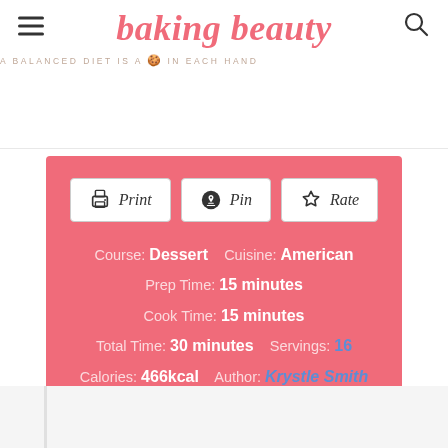baking beauty — A BALANCED DIET IS A 🍪 IN EACH HAND
Course: Dessert   Cuisine: American
Prep Time: 15 minutes
Cook Time: 15 minutes
Total Time: 30 minutes   Servings: 16
Calories: 466kcal   Author: Krystle Smith